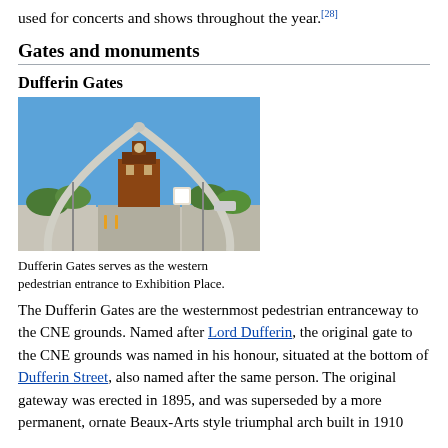It is rated as the operator of the ACC LTD in Toronto and it is used for concerts and shows throughout the year.[28]
Gates and monuments
Dufferin Gates
[Figure (photo): Photograph of the Dufferin Gates arch at Exhibition Place, Toronto. A large white arch spans a road with a brick building and trees visible in the background under a blue sky.]
Dufferin Gates serves as the western pedestrian entrance to Exhibition Place.
The Dufferin Gates are the westernmost pedestrian entranceway to the CNE grounds. Named after Lord Dufferin, the original gate to the CNE grounds was named in his honour, situated at the bottom of Dufferin Street, also named after the same person. The original gateway was erected in 1895, and was superseded by a more permanent, ornate Beaux-Arts style triumphal arch built in 1910